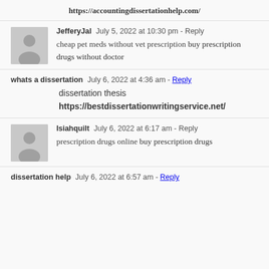https://accountingdissertationhelp.com/
JefferyJal  July 5, 2022 at 10:30 pm - Reply
cheap pet meds without vet prescription buy prescription drugs without doctor
whats a dissertation  July 6, 2022 at 4:36 am - Reply
dissertation thesis
https://bestdissertationwritingservice.net/
Isiahquilt  July 6, 2022 at 6:17 am - Reply
prescription drugs online buy prescription drugs
dissertation help  July 6, 2022 at 6:57 am - Reply